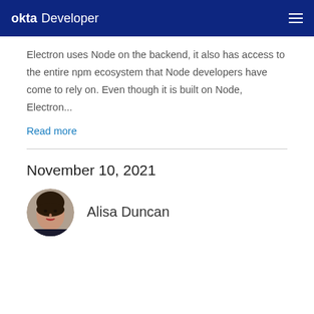okta Developer
Electron uses Node on the backend, it also has access to the entire npm ecosystem that Node developers have come to rely on. Even though it is built on Node, Electron...
Read more
November 10, 2021
[Figure (photo): Circular headshot photo of Alisa Duncan]
Alisa Duncan